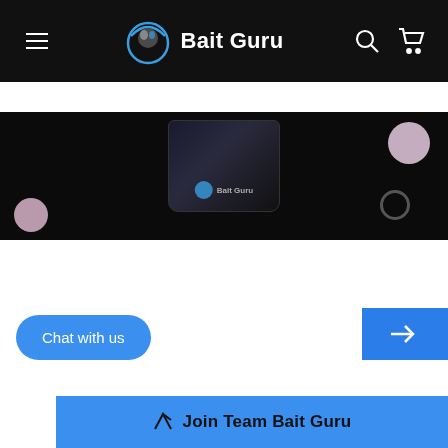Bait Guru — navigation bar with hamburger menu, logo, search and cart icons
[Figure (photo): Dark product photo showing Bait Guru branded container/jar on black background with pink/mauve spherical boilies]
SIGN UP & SAVE
Subscribe to get special offers, free giveaways, early access to products & once in a lifetime deals.
Chat with us
Join Team Bait Guru